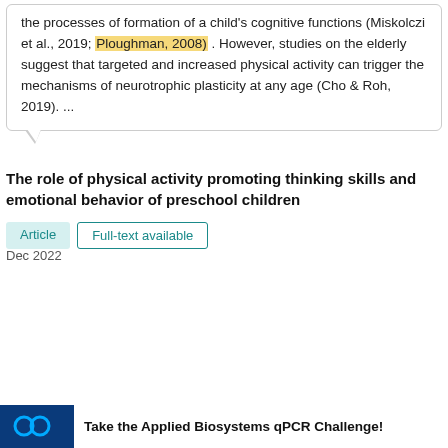the processes of formation of a child's cognitive functions (Miskolczi et al., 2019; Ploughman, 2008) . However, studies on the elderly suggest that targeted and increased physical activity can trigger the mechanisms of neurotrophic plasticity at any age (Cho & Roh, 2019). ...
The role of physical activity promoting thinking skills and emotional behavior of preschool children
Article   Full-text available
Dec 2022
[Figure (screenshot): Video ad: How you can use Employer Branding as part of your recruitment strategy in academia]
[Figure (photo): Applied Biosystems qPCR Challenge advertisement banner]